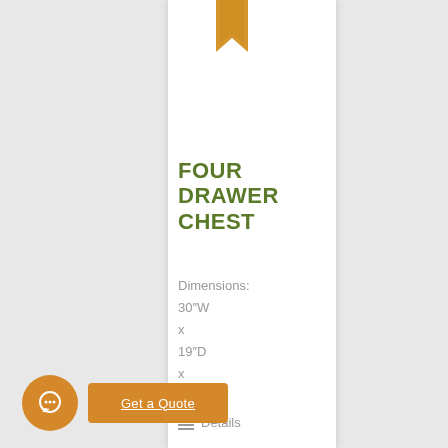[Figure (illustration): Gold/amber colored bookmark ribbon icon at the top of the white panel]
FOUR DRAWER CHEST
Dimensions:
30″W
x
19″D
x
40.5″H
Details
[Figure (illustration): Orange circular chat button with speech bubble icon]
Get a Quote